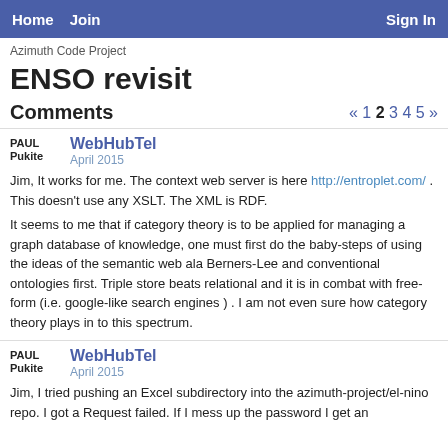Home  Join  Sign In
Azimuth Code Project
ENSO revisit
Comments  « 1 2 3 4 5 »
WebHubTel
April 2015
Jim, It works for me. The context web server is here http://entroplet.com/ . This doesn't use any XSLT. The XML is RDF.
It seems to me that if category theory is to be applied for managing a graph database of knowledge, one must first do the baby-steps of using the ideas of the semantic web ala Berners-Lee and conventional ontologies first. Triple store beats relational and it is in combat with free-form (i.e. google-like search engines ) . I am not even sure how category theory plays in to this spectrum.
WebHubTel
April 2015
Jim, I tried pushing an Excel subdirectory into the azimuth-project/el-nino repo. I got a Request failed. If I mess up the password I get an